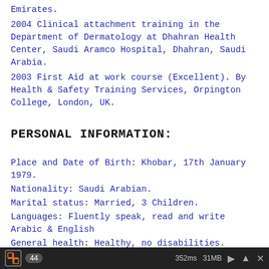Emirates.
2004 Clinical attachment training in the Department of Dermatology at Dhahran Health Center, Saudi Aramco Hospital, Dhahran, Saudi Arabia.
2003 First Aid at work course (Excellent). By Health & Safety Training Services, Orpington College, London, UK.
PERSONAL INFORMATION:
Place and Date of Birth: Khobar, 17th January 1979.
Nationality: Saudi Arabian.
Marital status: Married, 3 Children.
Languages: Fluently speak, read and write Arabic & English
General health: Healthy, no disabilities.
44   352ms  31MB